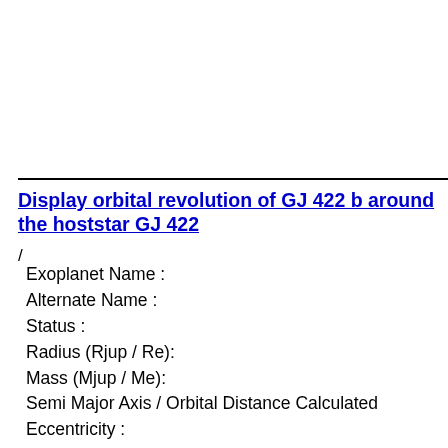Display orbital revolution of GJ 422 b around the hoststar GJ 422
/
Exoplanet Name :
Alternate Name :
Status :
Radius (Rjup / Re):
Mass (Mjup / Me):
Semi Major Axis / Orbital Distance Calculated
Eccentricity :
Orbital Period(Yrs)
Orbital Period(Observed/Estimated)